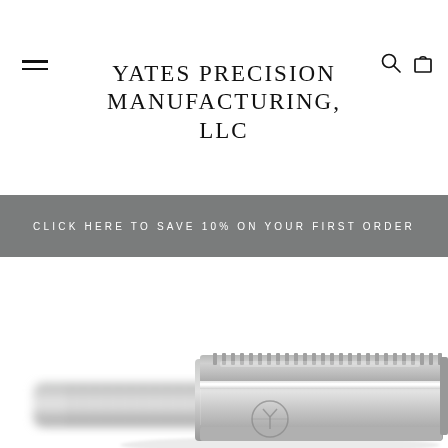YATES PRECISION MANUFACTURING, LLC
CLICK HERE TO SAVE 10% ON YOUR FIRST ORDER
[Figure (photo): Close-up product photo of a precision-machined safety razor head in brushed stainless steel, showing serrated top cap and guard bar with Yates logo embossed on the base plate. Handle extends to the left, blurred in the foreground.]